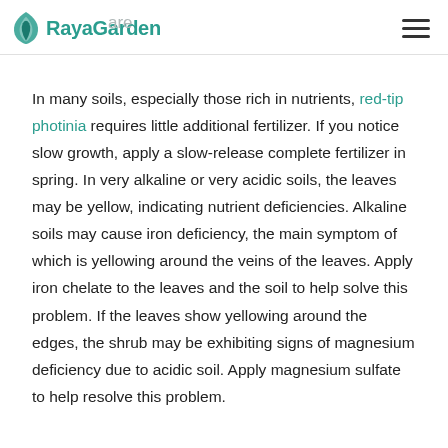RayaGarden
In many soils, especially those rich in nutrients, red-tip photinia requires little additional fertilizer. If you notice slow growth, apply a slow-release complete fertilizer in spring. In very alkaline or very acidic soils, the leaves may be yellow, indicating nutrient deficiencies. Alkaline soils may cause iron deficiency, the main symptom of which is yellowing around the veins of the leaves. Apply iron chelate to the leaves and the soil to help solve this problem. If the leaves show yellowing around the edges, the shrub may be exhibiting signs of magnesium deficiency due to acidic soil. Apply magnesium sulfate to help resolve this problem.